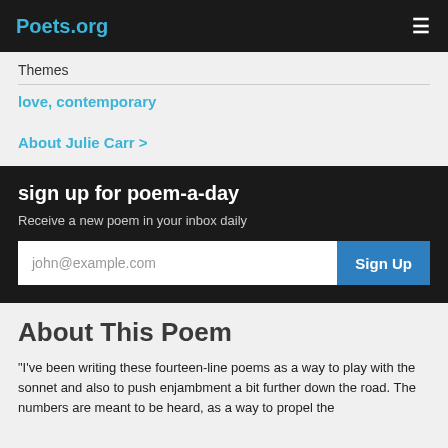Poets.org
Themes
love, contemporary
About Julie Carr >
sign up for poem-a-day
Receive a new poem in your inbox daily
john@example.com Sign Up
About This Poem
“I’ve been writing these fourteen-line poems as a way to play with the sonnet and also to push enjambment a bit further down the road. The numbers are meant to be heard, as a way to propel the